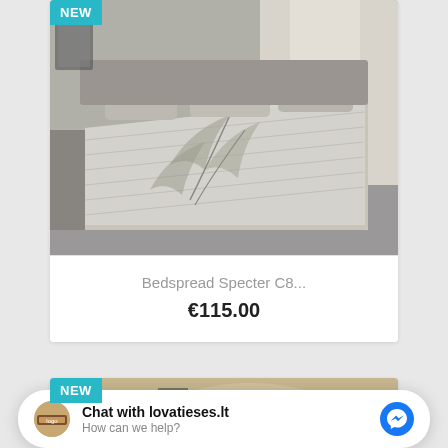[Figure (photo): Product card showing a gray floral/leaf patterned bedspread on a bed with pillows, with a 'NEW' badge in the top-left corner of the image]
Bedspread Specter C8...
€115.00
[Figure (photo): Partial second product card showing a beige/brown patterned bedspread with a 'NEW' badge]
Chat with lovatieses.lt
How can we help?